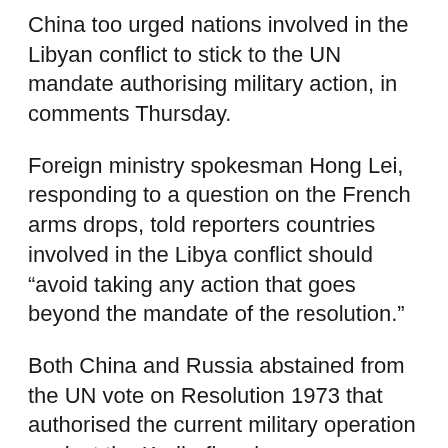China too urged nations involved in the Libyan conflict to stick to the UN mandate authorising military action, in comments Thursday.
Foreign ministry spokesman Hong Lei, responding to a question on the French arms drops, told reporters countries involved in the Libya conflict should “avoid taking any action that goes beyond the mandate of the resolution.”
Both China and Russia abstained from the UN vote on Resolution 1973 that authorised the current military operation against the Kadhafi regime.
France meanwhile denied the details of a report in the conservative daily Le Figaro regarding the arms drops.
The paper, citing someone it described as a senior source and referring to confidential intelligence